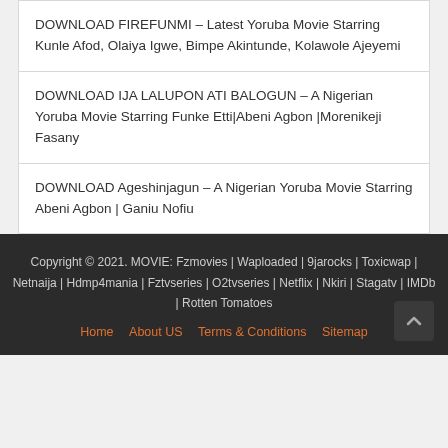DOWNLOAD FIREFUNMI – Latest Yoruba Movie Starring Kunle Afod, Olaiya Igwe, Bimpe Akintunde, Kolawole Ajeyemi
DOWNLOAD IJA LALUPON ATI BALOGUN – A Nigerian Yoruba Movie Starring Funke Etti|Abeni Agbon |Morenikeji Fasany
DOWNLOAD Ageshinjagun – A Nigerian Yoruba Movie Starring Abeni Agbon | Ganiu Nofiu
Copyright © 2021. MOVIE: Fzmovies | Waploaded | 9jarocks | Toxicwap | Netnaija | Hdmp4mania | Fztvseries | O2tvseries | Netflix | Nkiri | Stagatv | IMDb | Rotten Tomatoes
Home  About US  Terms & Conditions  Sitemap